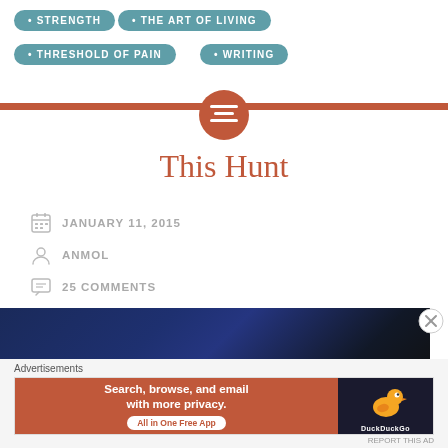STRENGTH
THE ART OF LIVING
THRESHOLD OF PAIN
WRITING
This Hunt
JANUARY 11, 2015
ANMOL
25 COMMENTS
[Figure (photo): Dark blue/navy textured background image, partial view]
Advertisements
[Figure (screenshot): DuckDuckGo advertisement banner: Search, browse, and email with more privacy. All in One Free App]